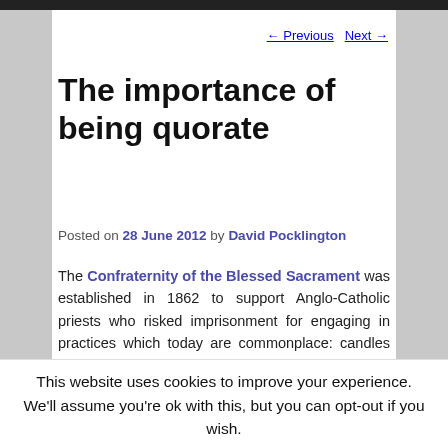← Previous   Next →
The importance of being quorate
Posted on 28 June 2012 by David Pocklington
The Confraternity of the Blessed Sacrament was established in 1862 to support Anglo-Catholic priests who risked imprisonment for engaging in practices which today are commonplace: candles on altars; making the sign of the cross; and vestments. Substantial donations were made in 19th century and the investment from these has been the source of much of its present funds. Following the creation of the Parochial Collections of Cumberland...
This website uses cookies to improve your experience. We'll assume you're ok with this, but you can opt-out if you wish.